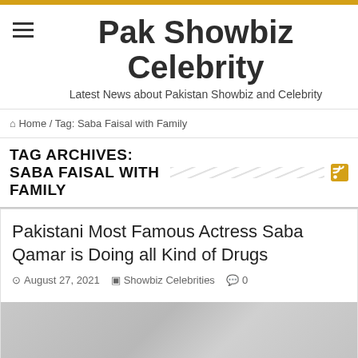Pak Showbiz Celebrity
Latest News about Pakistan Showbiz and Celebrity
Home / Tag: Saba Faisal with Family
TAG ARCHIVES: SABA FAISAL WITH FAMILY
Pakistani Most Famous Actress Saba Qamar is Doing all Kind of Drugs
August 27, 2021  Showbiz Celebrities  0
[Figure (photo): Article thumbnail image, light grey placeholder]